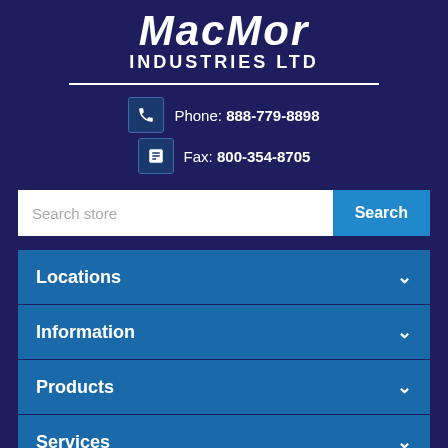MacMor INDUSTRIES LTD
Phone: 888-779-8898
Fax: 800-354-8705
Search store
Locations
Information
Products
Services
Follow Us